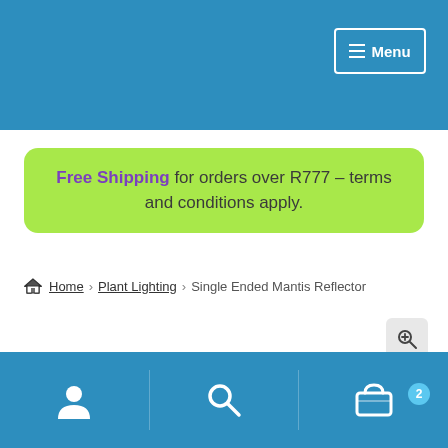Menu
Free Shipping for orders over R777 – terms and conditions apply.
Home > Plant Lighting > Single Ended Mantis Reflector
[Figure (photo): Partial view of a white reflector product at the bottom of the page]
Navigation bar with account, search, and cart (2 items) icons